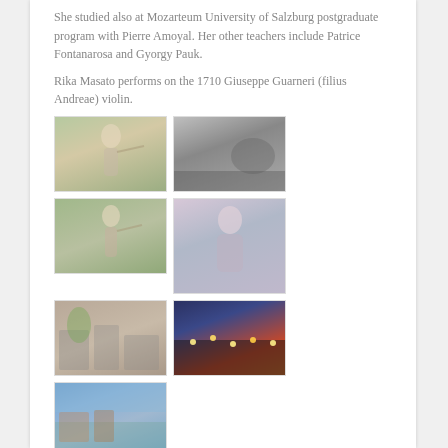She studied also at Mozarteum University of Salzburg postgraduate program with Pierre Amoyal. Her other teachers include Patrice Fontanarosa and Gyorgy Pauk.
Rika Masato performs on the 1710 Giuseppe Guarneri (filius Andreae) violin.
[Figure (photo): Woman in floral dress playing violin outdoors in green setting]
[Figure (photo): Black and white landscape with stone structure]
[Figure (photo): Woman in floral dress playing violin outdoors, green background]
[Figure (photo): Woman in dark outfit holding violin, soft portrait background]
[Figure (photo): Urban street scene with trees and buildings]
[Figure (photo): City street at dusk with lights]
[Figure (photo): Landscape with blue sky and buildings]